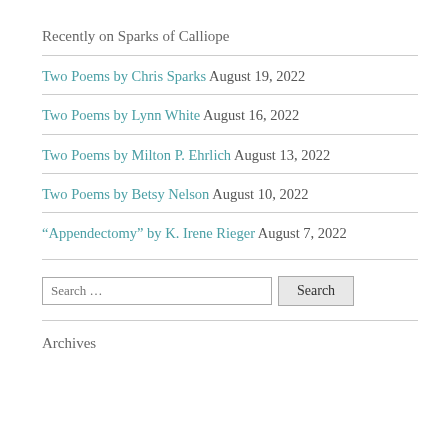Recently on Sparks of Calliope
Two Poems by Chris Sparks August 19, 2022
Two Poems by Lynn White August 16, 2022
Two Poems by Milton P. Ehrlich August 13, 2022
Two Poems by Betsy Nelson August 10, 2022
“Appendectomy” by K. Irene Rieger August 7, 2022
Search …
Archives